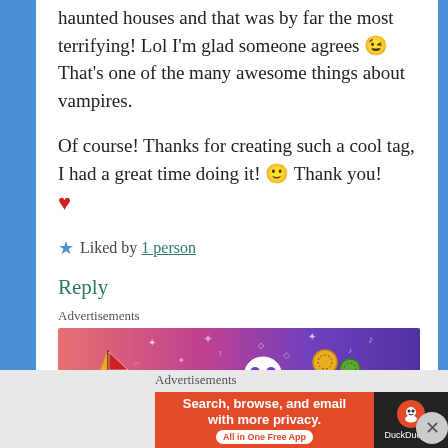haunted houses and that was by far the most terrifying! Lol I'm glad someone agrees 😉 That's one of the many awesome things about vampires.
Of course! Thanks for creating such a cool tag, I had a great time doing it! 🙂 Thank you! ❤
★ Liked by 1 person
Reply
Advertisements
[Figure (illustration): Colorful advertisement banner with gradient pink to purple background, featuring cartoon boat, skull, and orb illustrations with sparkle decorations]
Advertisements
[Figure (illustration): DuckDuckGo advertisement: Search, browse, and email with more privacy. All in One Free App. Orange left panel with white text, dark right panel with DuckDuckGo logo.]